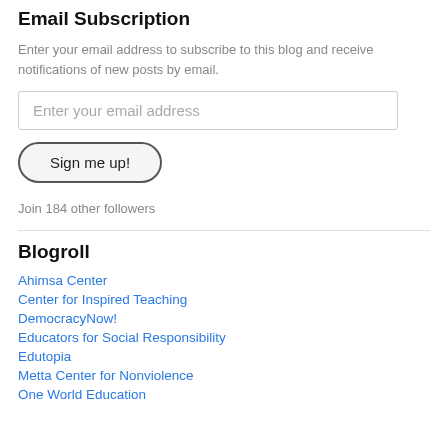Email Subscription
Enter your email address to subscribe to this blog and receive notifications of new posts by email.
[Figure (other): Email subscription input field with placeholder 'Enter your email address' and a 'Sign me up!' button]
Join 184 other followers
Blogroll
Ahimsa Center
Center for Inspired Teaching
DemocracyNow!
Educators for Social Responsibility
Edutopia
Metta Center for Nonviolence
One World Education